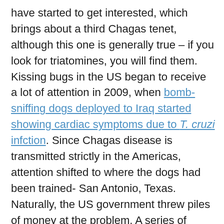have started to get interested, which brings about a third Chagas tenet, although this one is generally true – if you look for triatomines, you will find them. Kissing bugs in the US began to receive a lot of attention in 2009, when bomb-sniffing dogs deployed to Iraq started showing cardiac symptoms due to T. cruzi infction. Since Chagas disease is transmitted strictly in the Americas, attention shifted to where the dogs had been trained- San Antonio, Texas. Naturally, the US government threw piles of money at the problem. A series of follow-up surveys revealed four species of kissing bugs living in and around military dog kennels in Texas, and dogs infected with T. cruzi were found all over in Texas. A slew of new kissing bug studies followed, which are still happening. Just this year, a study of 476 government working dogs in 40 US states found a T. cruzi seroprevalence of 12.2% (58/476). These studies continue to reveal that kissing bugs are all over the place in human-dominated areas (i.e., not just 'natural